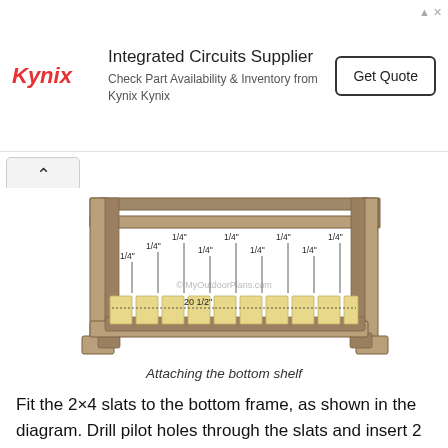[Figure (other): Advertisement banner for Kynix Integrated Circuits Supplier with logo, text, and Get Quote button]
[Figure (engineering-diagram): 3D illustration of a wooden coffee table frame showing bottom shelf slats being attached. Multiple dimension callouts show 1/4 inch spacing between slats and 20 1/2 inch total width. The structure has brown wooden posts and rails with lighter yellow slats on the bottom shelf. Watermark reads MyOutdoorPlans.com]
Attaching the bottom shelf
Fit the 2×4 slats to the bottom frame, as shown in the diagram. Drill pilot holes through the slats and insert 2 1/2"